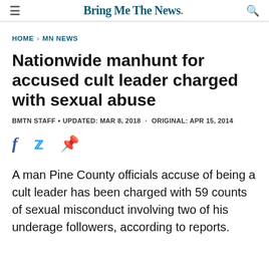Bring Me The News.
HOME > MN NEWS
Nationwide manhunt for accused cult leader charged with sexual abuse
BMTN STAFF • UPDATED: MAR 8, 2018 · ORIGINAL: APR 15, 2014
[Figure (other): Social sharing icons: Facebook, Twitter, Pinterest]
A man Pine County officials accuse of being a cult leader has been charged with 59 counts of sexual misconduct involving two of his underage followers, according to reports.